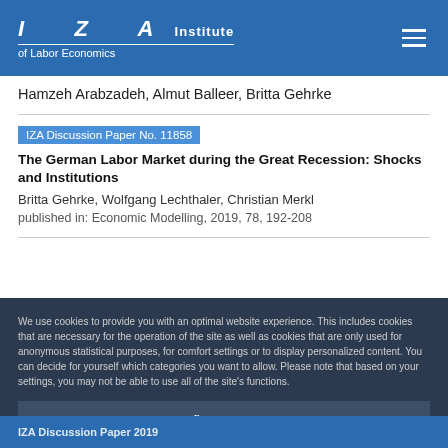IZA Institute of Labor Economics
Hamzeh Arabzadeh, Almut Balleer, Britta Gehrke
IZA Discussion Paper No. 11858
The German Labor Market during the Great Recession: Shocks and Institutions
Britta Gehrke, Wolfgang Lechthaler, Christian Merkl
published in: Economic Modelling, 2019, 78, 192-208
We use cookies to provide you with an optimal website experience. This includes cookies that are necessary for the operation of the site as well as cookies that are only used for anonymous statistical purposes, for comfort settings or to display personalized content. You can decide for yourself which categories you want to allow. Please note that based on your settings, you may not be able to use all of the site's functions.
Configure consent
Accept all